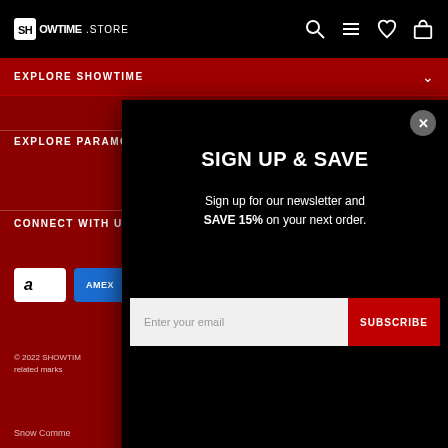SHOWTIME STORE
EXPLORE SHOWTIME
EXPLORE PARAMO
CONNECT WITH U
© 2022 SHOWTIM related marks
SIGN UP & SAVE
Sign up for our newsletter and SAVE 15% on your next order.
Snow Comme